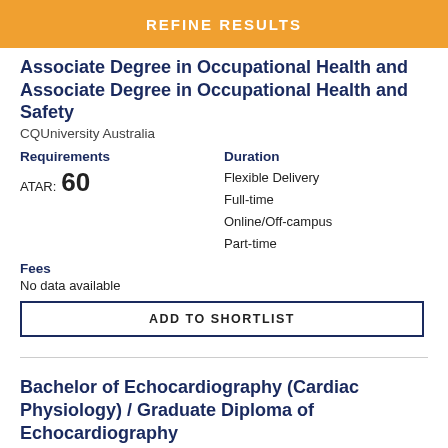REFINE RESULTS
Associate Degree in Occupational Health and Safety
CQUniversity Australia
Requirements
ATAR: 60
Duration
Flexible Delivery
Full-time
Online/Off-campus
Part-time
Fees
No data available
ADD TO SHORTLIST
Bachelor of Echocardiography (Cardiac Physiology) / Graduate Diploma of Echocardiography
CQUniversity Australia
Requirements
Duration